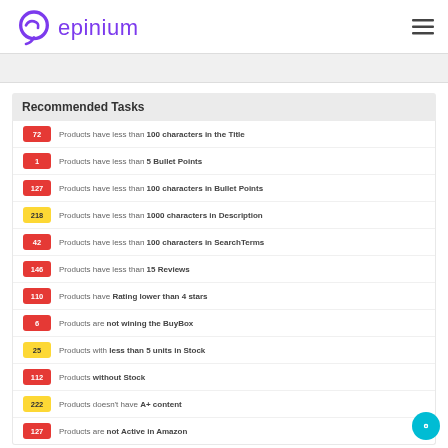epinium
Recommended Tasks
72 — Products have less than 100 characters in the Title
1 — Products have less than 5 Bullet Points
127 — Products have less than 100 characters in Bullet Points
218 — Products have less than 1000 characters in Description
42 — Products have less than 100 characters in SearchTerms
146 — Products have less than 15 Reviews
110 — Products have Rating lower than 4 stars
6 — Products are not wining the BuyBox
25 — Products with less than 5 units in Stock
112 — Products without Stock
222 — Products doesn't have A+ content
127 — Products are not Active in Amazon